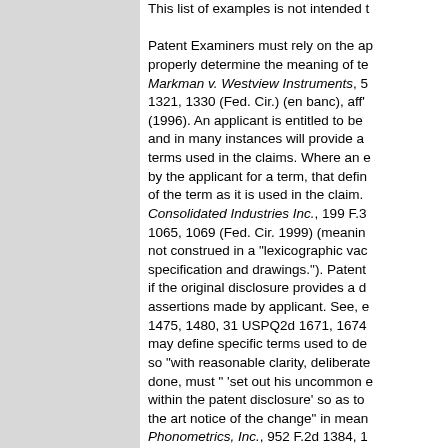This list of examples is not intended to be exhaustive.

Patent Examiners must rely on the applicant's disclosure to properly determine the meaning of terms. Markman v. Westview Instruments, 52 F.3d 1321, 1330 (Fed. Cir.) (en banc), aff'd, 517 U.S. 370 (1996). An applicant is entitled to be his own lexicographer and in many instances will provide a definition for certain terms used in the claims. Where an explicit definition is given by the applicant for a term, that definition will control interpretation of the term as it is used in the claim. See Multiform Desiccants v. Consolidated Industries Inc., 199 F.3d 1375 (Fed. Cir. 2000); CVI/Beta Ventures v. Tura LP, 112 F.3d 1065, 1069 (Fed. Cir. 1999) (meaning of claim terms are not construed in a "lexicographic vacuum, but rather in the context of the specification and drawings."). Patent terms may be defined in the specification if the original disclosure provides a definition consistent with prior assertions made by applicant. See, e.g., Paulsen, at 30 F. 3d 1475, 1480, 31 USPQ2d 1671, 1674. The applicant or inventor may define specific terms used to describe the invention, but only if done so "with reasonable clarity, deliberateness, and precision." If this is done, must " 'set out his uncommon definition in some manner within the patent disclosure' so as to give one of ordinary skill in the art notice of the change" in meaning. Ecolab Inc. v. Enviro Tech Chem. v. Phonometrics, Inc., 952 F.2d 1384, 1387-88 (Fed. Cir. 1992) (quoting Paulsen at 1386 (Fed. Cir. 1992)). Any special meaning must be stated clearly and "must be sufficiently clear in the specification that any departure from common usage would be so understood by a person of ordinary experience in the field of the invention." Symbol Technologies, Inc. v. Medzam Ltd., 133 F.3d 1473, 1477, 45 USPQ2d 1385, 1388 (Fed. Cir. 1998). If an applicant does not define a claim term in the specification, that term will be given its ordinary meaning in the art. See Paulsen, at 30 F. 3d 1480, 31 USPQ2d at 1674.